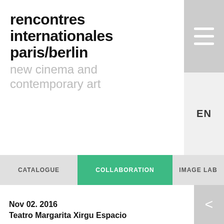rencontres internationales paris/berlin
new cinema and contemporary art
EN
CATALOGUE | COLLABORATION | IMAGE LAB
Nov 02. 2016
Teatro Margarita Xirgu Espacio
Anthropologies
João Vieira Torres, Tanawi Xucuru Kariri : Toré | Exp. documentary | hdv | colour | 00:15:00 | Brazil | 2015
Ivan Argote : Barcelona | Video | hdv | colour | 00:05:16 | Colombia, Spain | 2014
Ana Vaz : Occidente | Exp. documentary | hdv | colour | 00:15:20 |